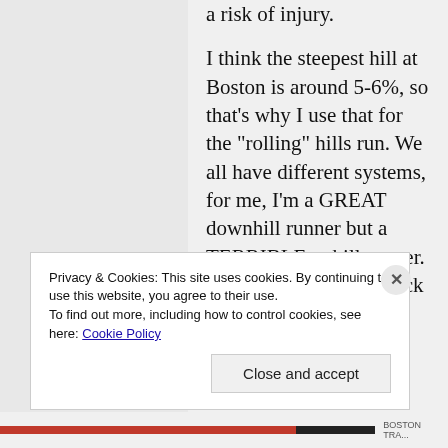a risk of injury.
I think the steepest hill at Boston is around 5-6%, so that's why I use that for the "rolling" hills run. We all have different systems, for me, I'm a GREAT downhill runner but a TERRIBLE uphill runner. So, I just need to get back that feeling of being
Privacy & Cookies: This site uses cookies. By continuing to use this website, you agree to their use.
To find out more, including how to control cookies, see here: Cookie Policy